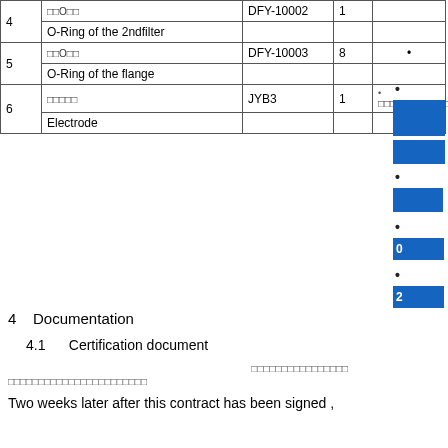| No. | Name | Code | Qty | Note |
| --- | --- | --- | --- | --- |
| 4 | □□O□□
O-Ring of the 2ndfilter | DFY-10002 | 1 |  |
| 5 | □□O□□
O-Ring of the flange | DFY-10003 | 8 | • |
| 6 | □□□□□
Electrode | JYB3 | 1 | • □□□□□□□□□□□□ |
4    Documentation
4.1      Certification document
□□□□□□□□□□□□□□□□
□□□□□□□□□□□□□□□□□□□□□□□
Two weeks later after this contract has been signed ,